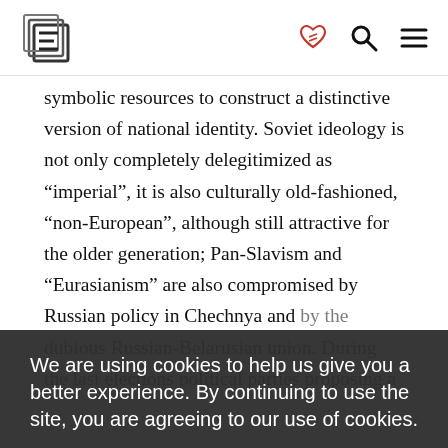[Logo: E] [heart-handshake icon] [search icon] [menu icon]
symbolic resources to construct a distinctive version of national identity. Soviet ideology is not only completely delegitimized as “imperial”, it is also culturally old-fashioned, “non-European”, although still attractive for the older generation; Pan-Slavism and “Eurasianism” are also compromised by Russian policy in Chechnya and by the dubious Russian-Belarusian union. During the last elections political parties proposing a … support. The same is true about the Russian … status of the Russian language. Although the
We are using cookies to help us give you a better experience. By continuing to use the site, you are agreeing to our use of cookies.
Confirm